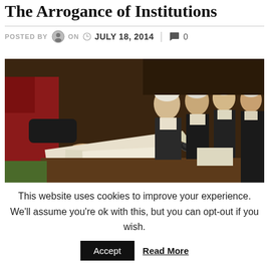The Arrogance of Institutions
POSTED BY  ON  JULY 18, 2014  |  0
[Figure (photo): Historical painting showing several men in 18th century attire gathered around a table with documents and quill pens, one figure in a red coat reaching toward papers.]
This website uses cookies to improve your experience. We'll assume you're ok with this, but you can opt-out if you wish.
Accept  Read More